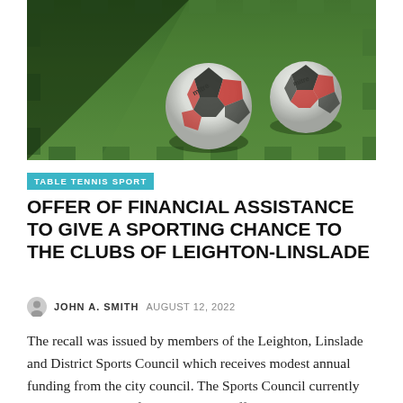[Figure (photo): Two Mitre footballs resting on green grass turf, photographed close up with shallow depth of field]
TABLE TENNIS SPORT
OFFER OF FINANCIAL ASSISTANCE TO GIVE A SPORTING CHANCE TO THE CLUBS OF LEIGHTON-LINSLADE
JOHN A. SMITH  AUGUST 12, 2022
The recall was issued by members of the Leighton, Linslade and District Sports Council which receives modest annual funding from the city council. The Sports Council currently has representatives from around 17 different sports